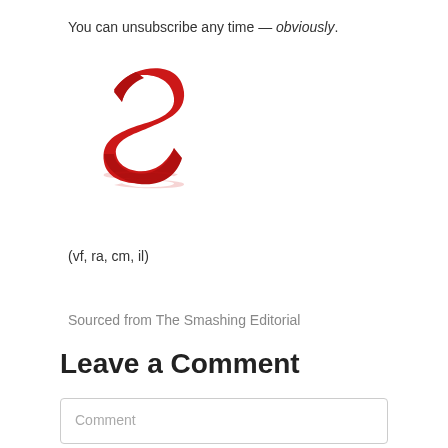You can unsubscribe any time — obviously.
[Figure (logo): Smashing Magazine red 'S' logo with reflection]
(vf, ra, cm, il)
Sourced from The Smashing Editorial
Leave a Comment
Comment